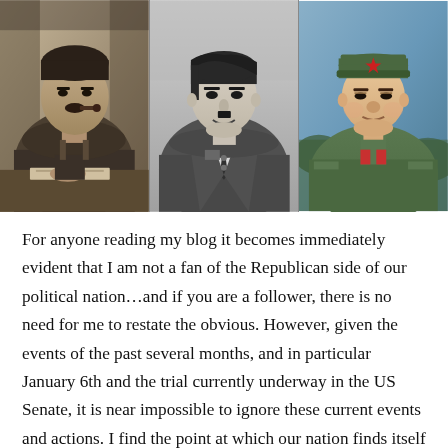[Figure (photo): Three historical photographs side by side: left - black and white photo of Joseph Stalin writing at a desk; center - black and white photo of Adolf Hitler in military uniform; right - color photo of Mao Zedong in military cap and green uniform.]
For anyone reading my blog it becomes immediately evident that I am not a fan of the Republican side of our political nation…and if you are a follower, there is no need for me to restate the obvious. However, given the events of the past several months, and in particular January 6th and the trial currently underway in the US Senate, it is near impossible to ignore these current events and actions. I find the point at which our nation finds itself to be